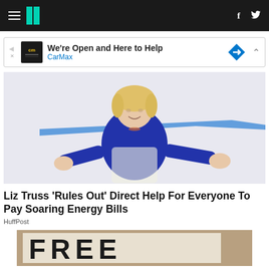HuffPost navigation with hamburger menu, logo, Facebook and Twitter icons
[Figure (infographic): CarMax advertisement banner: We're Open and Here to Help | CarMax]
[Figure (photo): Photo of Liz Truss in a blue outfit, gesturing with arms spread, laughing, in front of a light background with a blue stripe]
Liz Truss 'Rules Out' Direct Help For Everyone To Pay Soaring Energy Bills
HuffPost
[Figure (photo): Partial photo showing a sign with the word FREE painted on it]